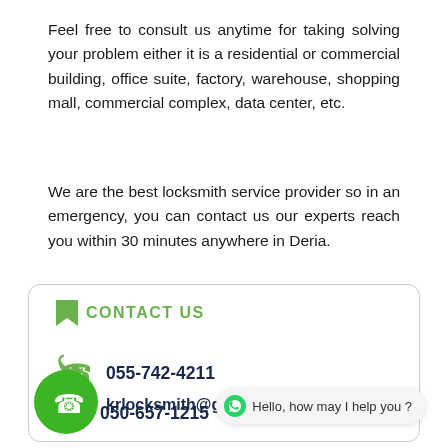Feel free to consult us anytime for taking solving your problem either it is a residential or commercial building, office suite, factory, warehouse, shopping mall, commercial complex, data center, etc.
We are the best locksmith service provider so in an emergency, you can contact us our experts reach you within 30 minutes anywhere in Deria.
CONTACT US
055-742-4211
050-657-1215
krlocksmith@gm...
Hello, how may I help you ?